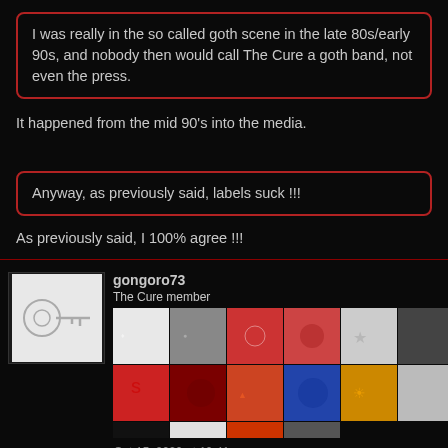I was really in the so called goth scene in the late 80s/early 90s, and nobody then would call The Cure a goth band, not even the press.
It happened from the mid 90's into the media.
Anyway, as previously said, labels suck !!!
As previously said, I 100% agree !!!
gongoro73
The Cure member
[Figure (photo): User avatar: white background with a small illustration (looks like a key or instrument shape)]
[Figure (illustration): Grid of album covers, colorful collage of The Cure album artworks]
Oct 15, 2020 at 10:41pm
steve likes this